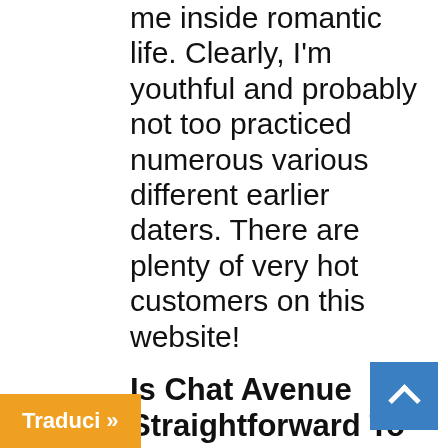me inside romantic life. Clearly, I'm youthful and probably not too practiced numerous various different earlier daters. There are plenty of very hot customers on this website!
Is Chat Avenue Straightforward To Navigate?
If a member is appearing abusively or inappropriately